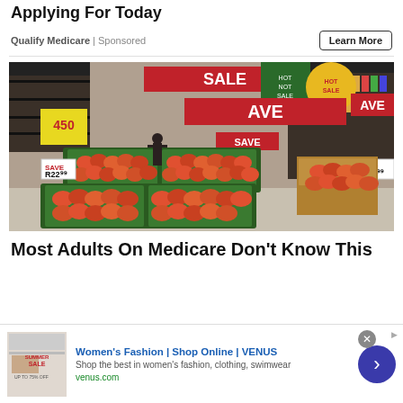Applying For Today
Qualify Medicare | Sponsored
[Figure (photo): Interior of a supermarket/grocery store showing produce displays with green crates filled with apples and other fruits. Price tags show R22 and R24. Large red SAVE signs hang overhead. Shelves stocked with beverages visible in background.]
Most Adults On Medicare Don't Know This
Women's Fashion | Shop Online | VENUS
Shop the best in women's fashion, clothing, swimwear
venus.com